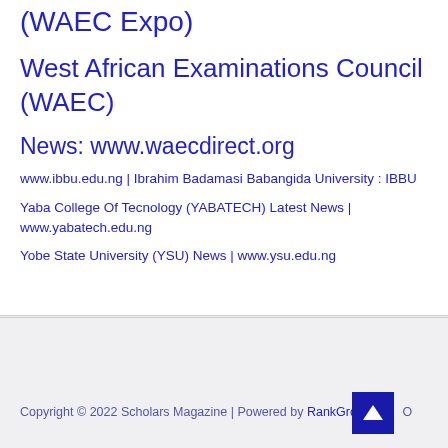(WAEC Expo)
West African Examinations Council (WAEC)
News: www.waecdirect.org
www.ibbu.edu.ng | Ibrahim Badamasi Babangida University : IBBU
Yaba College Of Tecnology (YABATECH) Latest News | www.yabatech.edu.ng
Yobe State University (YSU) News | www.ysu.edu.ng
Copyright © 2022 Scholars Magazine | Powered by RankGro...O